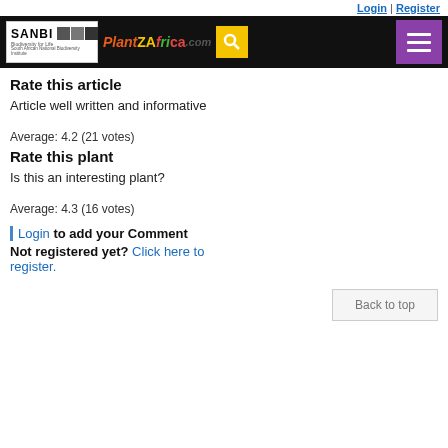Login | Register
[Figure (logo): SANBI and PlantZAfrica.com navigation bar with search and menu buttons]
Rate this article
Article well written and informative
Average: 4.2 (21 votes)
Rate this plant
Is this an interesting plant?
Average: 4.3 (16 votes)
Login to add your Comment
Not registered yet? Click here to register.
Back to top